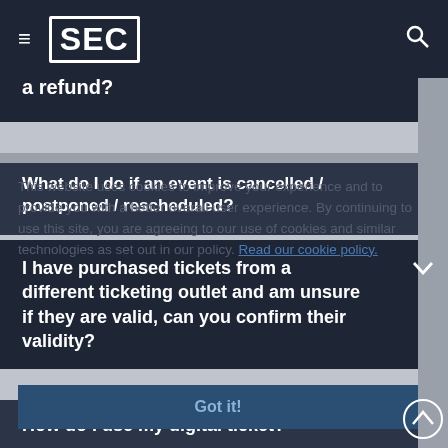SEC
If I purchase tickets and then cannot attend the event, can I have a refund?
What do I do if an event is cancelled / postponed / rescheduled?
This website uses cookies to improve your experience and to provide you with a better overall user experience. By continuing to use this site, you are agreeing to our use of cookies and similar technologies as set out in our policy. Read our cookie policy.
I have purchased tickets from a different ticketing outlet and am unsure if they are valid, can you confirm their validity?
Got it!
How do I use my digital ticket?